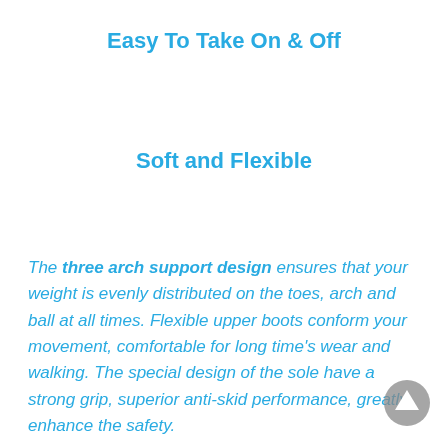Easy To Take On & Off
Soft and Flexible
The three arch support design ensures that your weight is evenly distributed on the toes, arch and ball at all times. Flexible upper boots conform your movement, comfortable for long time’s wear and walking. The special design of the sole have a strong grip, superior anti-skid performance, greatly enhance the safety.